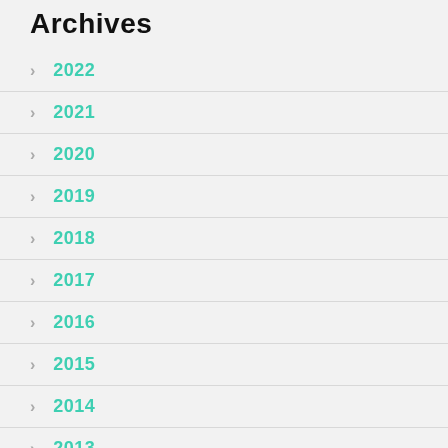Archives
2022
2021
2020
2019
2018
2017
2016
2015
2014
2013
2012